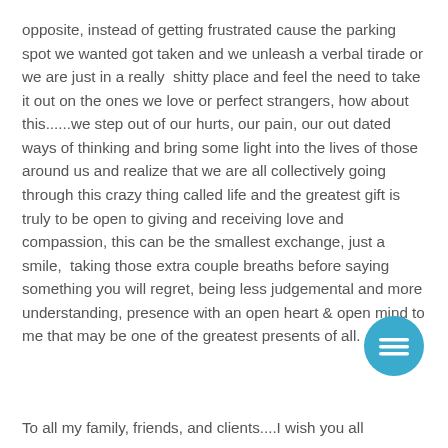opposite, instead of getting frustrated cause the parking spot we wanted got taken and we unleash a verbal tirade or we are just in a really shitty place and feel the need to take it out on the ones we love or perfect strangers, how about this......we step out of our hurts, our pain, our out dated ways of thinking and bring some light into the lives of those around us and realize that we are all collectively going through this crazy thing called life and the greatest gift is truly to be open to giving and receiving love and compassion, this can be the smallest exchange, just a smile, taking those extra couple breaths before saying something you will regret, being less judgemental and more understanding, presence with an open heart & open mind to me that may be one of the greatest presents of all.
[Figure (illustration): Blue circular chat bubble icon with three horizontal lines representing a message]
To all my family, friends, and clients....I wish you all